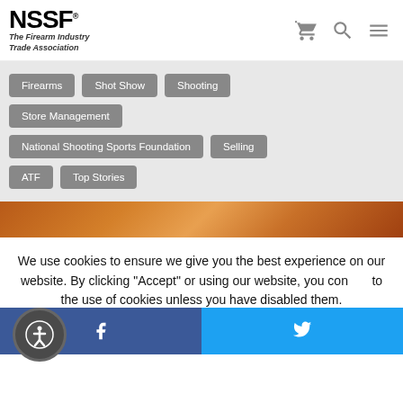[Figure (logo): NSSF logo — The Firearm Industry Trade Association]
Firearms
Shot Show
Shooting
Store Management
National Shooting Sports Foundation
Selling
ATF
Top Stories
[Figure (photo): Orange/brown colored image strip at top of article]
We use cookies to ensure we give you the best experience on our website. By clicking "Accept" or using our website, you consent to the use of cookies unless you have disabled them.
[Figure (infographic): Accessibility icon circle button (person in circle icon)]
[Figure (infographic): Social share bar: Facebook (blue) and Twitter (light blue) icons at bottom of page]